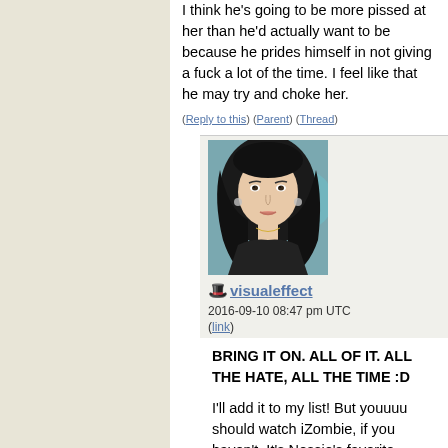I think he's going to be more pissed at her than he'd actually want to be because he prides himself in not giving a fuck a lot of the time. I feel like that he may try and choke her.
(Reply to this) (Parent) (Thread)
[Figure (photo): Profile photo of a young woman with long dark hair wearing a dark lace outfit, photographed at an event.]
visualeffect
2016-09-10 08:47 pm UTC
(link)
BRING IT ON. ALL OF IT. ALL THE HATE, ALL THE TIME :D
I'll add it to my list! But youuuu should watch iZombie, if you haven't. It's Nessie's favorite